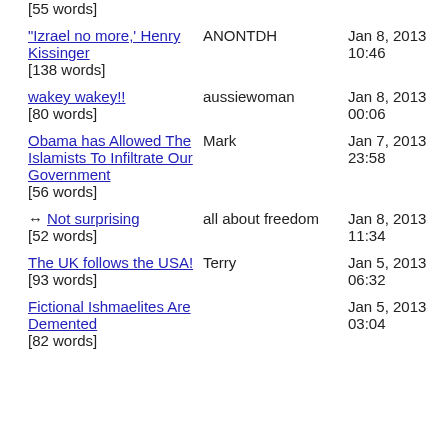[55 words] (partial, top of page)
"Izrael no more,' Henry Kissinger [138 words] | ANONTDH | Jan 8, 2013 10:46
wakey wakey!! [80 words] | aussiewoman | Jan 8, 2013 00:06
Obama has Allowed The Islamists To Infiltrate Our Government [56 words] | Mark | Jan 7, 2013 23:58
↔ Not surprising [52 words] | all about freedom | Jan 8, 2013 11:34
The UK follows the USA! [93 words] | Terry | Jan 5, 2013 06:32
Fictional Ishmaelites Are Demented [82 words] | Jan 5, 2013 03:04